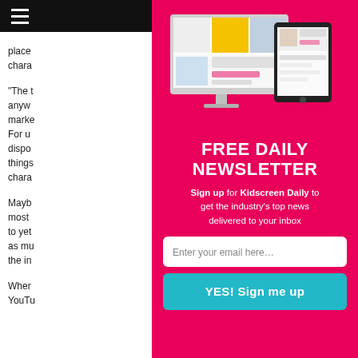place
chara
“The t
anyw
marke
For u
dispo
things
chara
Mayb
most
to yet
as mu
the in
Wher
YouTu
[Figure (screenshot): Screenshot of Kidscreen website shown on desktop monitor and tablet device]
FREE DAILY NEWSLETTER
Sign up for Kidscreen Daily to get the industry’s top news delivered to your inbox
Enter your email here…
YES! Sign me up